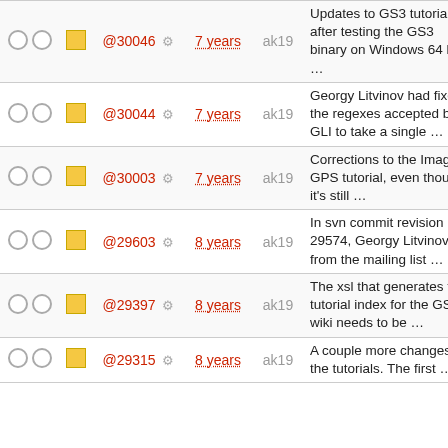|  |  | ID | Age | User | Description |
| --- | --- | --- | --- | --- | --- |
| ○ ○ | □ | @30046 ⚙ | 7 years | ak19 | Updates to GS3 tutorial after testing the GS3 binary on Windows 64 bit ... |
| ○ ○ | □ | @30044 ⚙ | 7 years | ak19 | Georgy Litvinov had fixed the regexes accepted by GLI to take a single ... |
| ○ ○ | □ | @30003 ⚙ | 7 years | ak19 | Corrections to the Images-GPS tutorial, even though it's still ... |
| ○ ○ | □ | @29603 ⚙ | 8 years | ak19 | In svn commit revision 29574, Georgy Litvinov from the mailing list ... |
| ○ ○ | □ | @29397 ⚙ | 8 years | ak19 | The xsl that generates the tutorial index for the GS3 wiki needs to be ... |
| ○ ○ | □ | @29315 ⚙ | 8 years | ak19 | A couple more changes to the tutorials. The first ... |